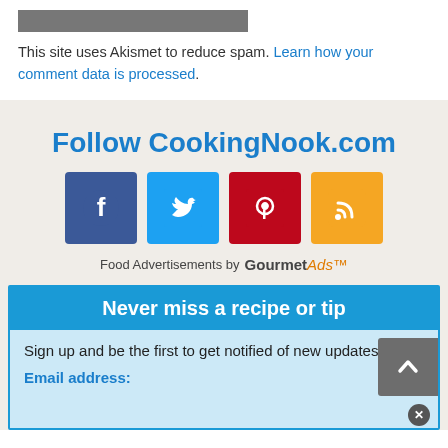[Figure (other): Gray placeholder image bar]
This site uses Akismet to reduce spam. Learn how your comment data is processed.
Follow CookingNook.com
[Figure (other): Social media icons: Facebook, Twitter, Pinterest, RSS]
Food Advertisements by GourmetAds
Never miss a recipe or tip
Sign up and be the first to get notified of new updates.
Email address: